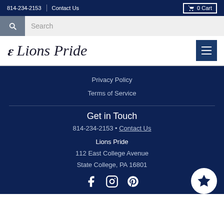814-234-2153 | Contact Us | 0 Cart
Search
[Figure (logo): Lions Pride store logo with cursive flourish]
Privacy Policy
Terms of Service
Get in Touch
814-234-2153 • Contact Us
Lions Pride
112 East College Avenue
State College, PA 16801
[Figure (infographic): Social media icons: Facebook, Instagram, Pinterest; with loyalty badge circle with star]